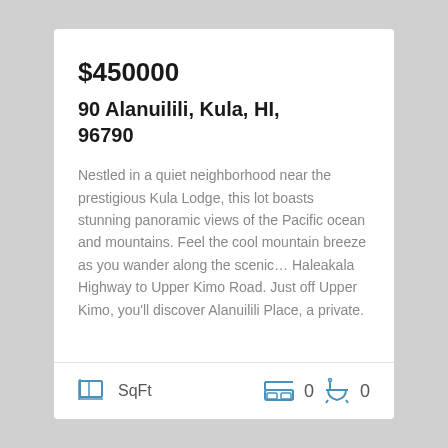$450000
90 Alanuilili, Kula, HI, 96790
Nestled in a quiet neighborhood near the prestigious Kula Lodge, this lot boasts stunning panoramic views of the Pacific ocean and mountains. Feel the cool mountain breeze as you wander along the scenic... Haleakala Highway to Upper Kimo Road. Just off Upper Kimo, you'll discover Alanuilili Place, a private.
SqFt  0  0